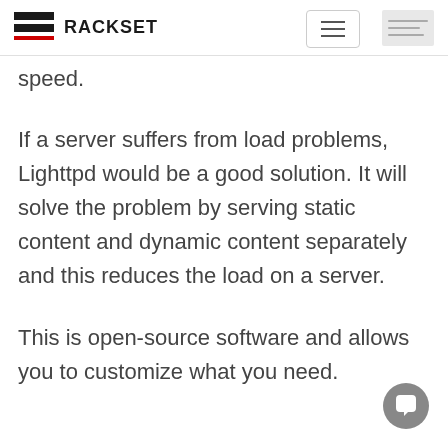RACKSET
speed.
If a server suffers from load problems, Lighttpd would be a good solution. It will solve the problem by serving static content and dynamic content separately and this reduces the load on a server.
This is open-source software and allows you to customize what you need.